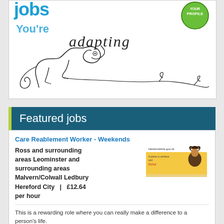[Figure (illustration): Advertisement panel showing 'You're adapting' text with a line-drawing illustration of a chameleon and a green circular badge saying 'YOUR PROFILE']
Featured jobs
Care Reablement Worker - Weekends
Ross and surrounding areas Leominster and surrounding areas Malvern/Colwall Ledbury Hereford City | £12.64 per hour
[Figure (illustration): Herefordshire.gov.uk logo and 'A place to achieve and thrive' advertisement image with a person]
This is a rewarding role where you can really make a difference to a person's life.